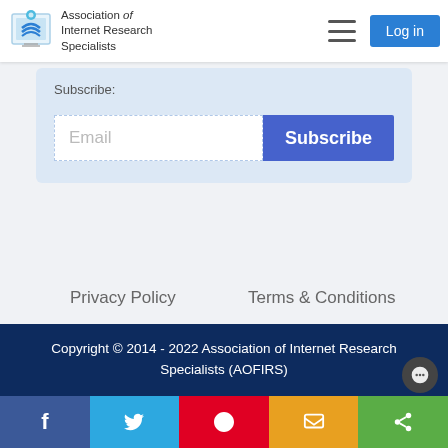Association of Internet Research Specialists — Log in
Subscribe:
Email
Subscribe
Privacy Policy
Terms & Conditions
Advertising Opportunities
Sitemap
Copyright © 2014 - 2022 Association of Internet Research Specialists (AOFIRS)